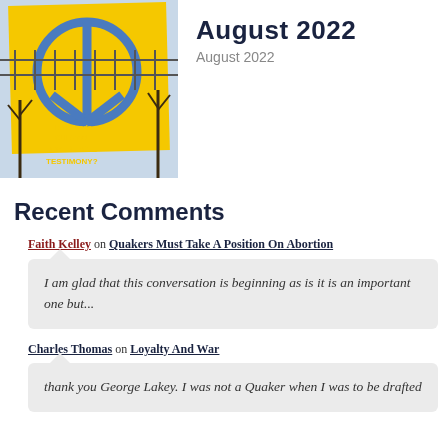[Figure (illustration): Yellow banner with a blue peace symbol hanging on a fence, with trees in the background. Text on the banner reads 'Do Friends Still Need the PEACE TESTIMONY?']
August 2022
August 2022
Recent Comments
Faith Kelley on Quakers Must Take A Position On Abortion
I am glad that this conversation is beginning as is it is an important one but...
Charles Thomas on Loyalty And War
thank you George Lakey. I was not a Quaker when I was to be drafted